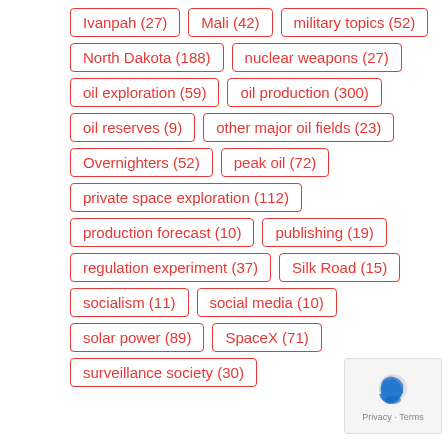Ivanpah (27)
Mali (42)
military topics (52)
North Dakota (188)
nuclear weapons (27)
oil exploration (59)
oil production (300)
oil reserves (9)
other major oil fields (23)
Overnighters (52)
peak oil (72)
private space exploration (112)
production forecast (10)
publishing (19)
regulation experiment (37)
Silk Road (15)
socialism (11)
social media (10)
solar power (89)
SpaceX (71)
surveillance society (30)